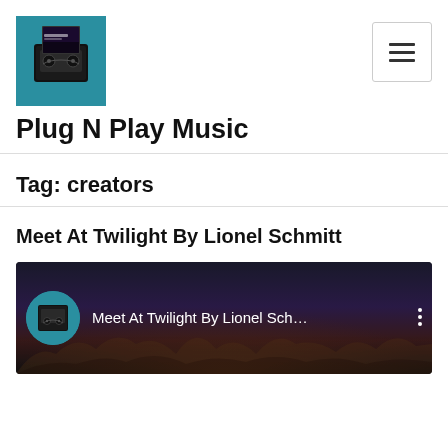[Figure (logo): Plug N Play Music logo: teal background with cassette tape and album art graphic]
Plug N Play Music
Tag: creators
Meet At Twilight By Lionel Schmitt
[Figure (screenshot): YouTube video thumbnail for 'Meet At Twilight By Lionel Sch...' with channel icon and three-dot menu]